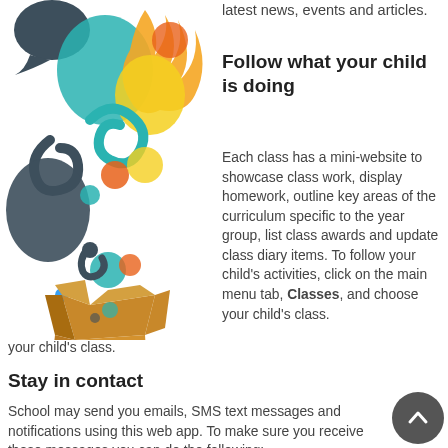latest news, events and articles.
[Figure (illustration): Colorful illustration of speech bubbles, flame shapes, dots, and swirls emerging from an open cardboard box]
Follow what your child is doing
Each class has a mini-website to showcase class work, display homework, outline key areas of the curriculum specific to the year group, list class awards and update class diary items. To follow your child's activities, click on the main menu tab, Classes, and choose your child's class.
Stay in contact
School may send you emails, SMS text messages and notifications using this web app. To make sure you receive these messages you can do the following: